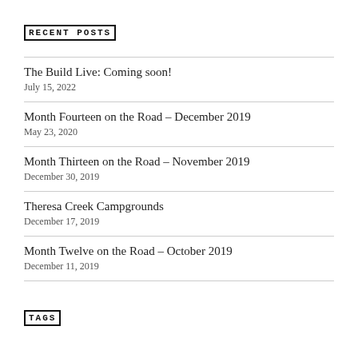RECENT POSTS
The Build Live: Coming soon!
July 15, 2022
Month Fourteen on the Road – December 2019
May 23, 2020
Month Thirteen on the Road – November 2019
December 30, 2019
Theresa Creek Campgrounds
December 17, 2019
Month Twelve on the Road – October 2019
December 11, 2019
TAGS